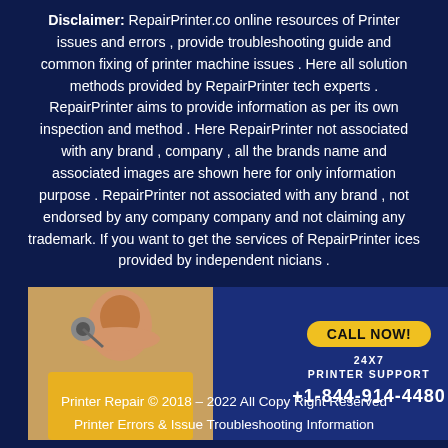Disclaimer: RepairPrinter.co online resources of Printer issues and errors , provide troubleshooting guide and common fixing of printer machine issues . Here all solution methods provided by RepairPrinter tech experts . RepairPrinter aims to provide information as per its own inspection and method . Here RepairPrinter not associated with any brand , company , all the brands name and associated images are shown here for only information purpose . RepairPrinter not associated with any brand , not endorsed by any company company and not claiming any trademark. If you want to get the services of RepairPrinter ices provided by independent nicians .
[Figure (infographic): Advertisement banner showing a woman with headset in yellow shirt on the left, and on the right a dark blue background with 'CALL NOW!' in yellow speech bubble, '24X7 PRINTER SUPPORT' text, and phone number '+1-844-914-4480' in white text.]
Printer Repair © 2018 – 2022 All Copy Right Reserved
Printer Errors & Issue Troubleshooting Information